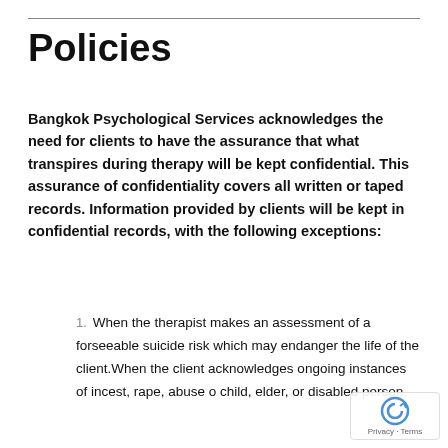Policies
Bangkok Psychological Services acknowledges the need for clients to have the assurance that what transpires during therapy will be kept confidential. This assurance of confidentiality covers all written or taped records. Information provided by clients will be kept in confidential records, with the following exceptions:
1. When the therapist makes an assessment of a forseeable suicide risk which may endanger the life of the client.When the client acknowledges ongoing instances of incest, rape, abuse of child, elder, or disabled person.